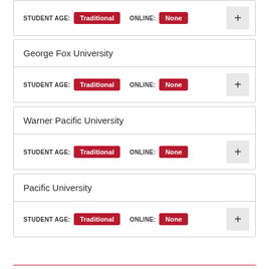STUDENT AGE: Traditional  ONLINE: None
George Fox University
STUDENT AGE: Traditional  ONLINE: None
Warner Pacific University
STUDENT AGE: Traditional  ONLINE: None
Pacific University
STUDENT AGE: Traditional  ONLINE: None